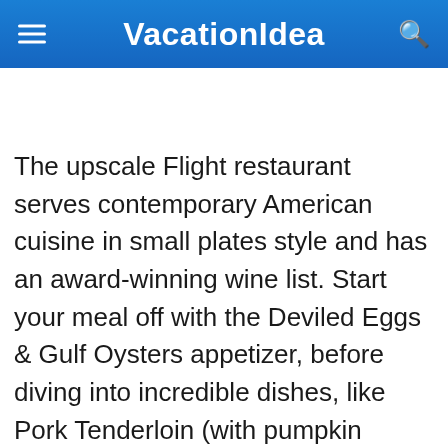VacationIdea
The upscale Flight restaurant serves contemporary American cuisine in small plates style and has an award-winning wine list. Start your meal off with the Deviled Eggs & Gulf Oysters appetizer, before diving into incredible dishes, like Pork Tenderloin (with pumpkin ravioli and grilled scallions) or Elk Chop (with Truffle White Cheddar Macaroni, local mushrooms, and a Kahlua glaze).